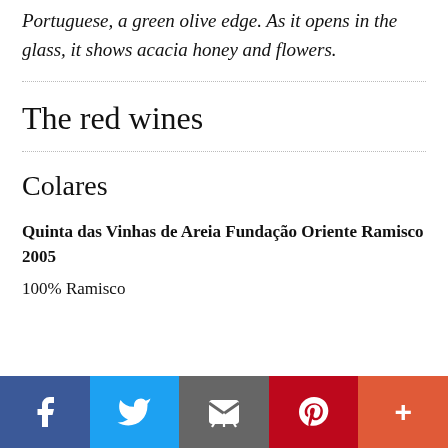Portuguese, a green olive edge.  As it opens in the glass, it shows acacia honey and flowers.
The red wines
Colares
Quinta das Vinhas de Areia Fundação Oriente Ramisco 2005
100% Ramisco